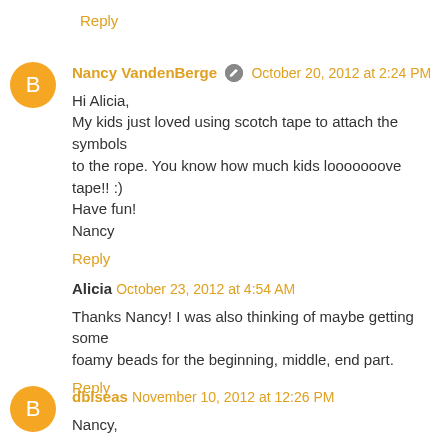Reply
Nancy VandenBerge — October 20, 2012 at 2:24 PM
Hi Alicia,
My kids just loved using scotch tape to attach the symbols to the rope. You know how much kids looooooove tape!! :)
Have fun!
Nancy
Reply
Alicia — October 23, 2012 at 4:54 AM
Thanks Nancy! I was also thinking of maybe getting some foamy beads for the beginning, middle, end part.
Reply
dblseas — November 10, 2012 at 12:26 PM
Nancy,